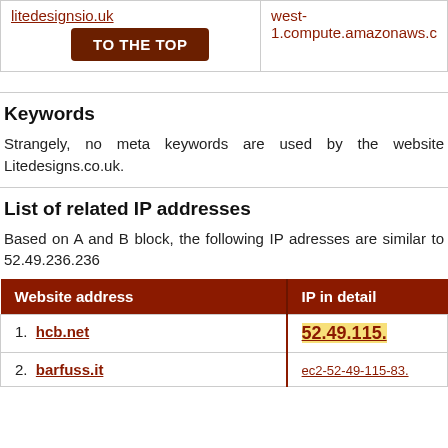|  |  |
| --- | --- |
| litedesignsio.uk [link] | TO THE TOP [button] | west-1.compute.amazonaws.c |
Keywords
Strangely, no meta keywords are used by the website Litedesigns.co.uk.
List of related IP addresses
Based on A and B block, the following IP adresses are similar to 52.49.236.236
| Website address | IP in detail |
| --- | --- |
| 1. hcb.net | 52.49.115. |
| 2. barfuss.it | ec2-52-49-115-83. |